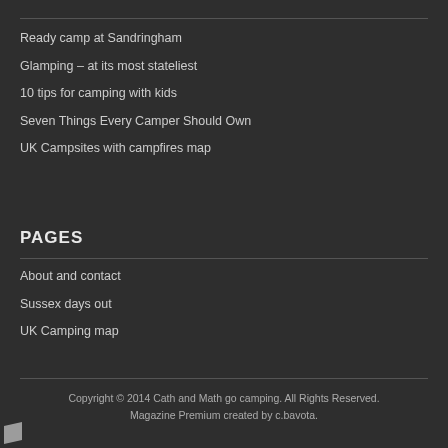Ready camp at Sandringham
Glamping – at its most stateliest
10 tips for camping with kids
Seven Things Every Camper Should Own
UK Campsites with campfires map
PAGES
About and contact
Sussex days out
UK Camping map
Copyright © 2014 Cath and Math go camping. All Rights Reserved.
Magazine Premium created by c.bavota.